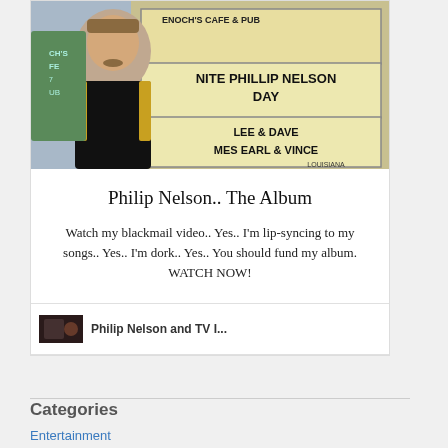[Figure (photo): Man in black New Orleans Saints jersey standing in front of a marquee sign reading 'NITE PHILLIP NELSON DAY' and 'LEE & DAVE, MES EARL & VINCE, LOUISIANA' at Enoch's Cafe & Pub]
Philip Nelson.. The Album
Watch my blackmail video.. Yes.. I'm lip-syncing to my songs.. Yes.. I'm dork.. Yes.. You should fund my album. WATCH NOW!
[Figure (photo): Small thumbnail image, dark/dimly lit scene]
Philip Nelson and TV I...
Categories
Entertainment